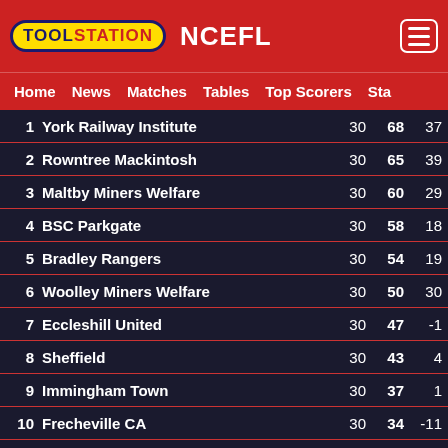TOOLSTATION NCEFL
Home  News  Matches  Tables  Top Scorers  Sta
| Pos | Team | P | Pts | GD |
| --- | --- | --- | --- | --- |
| 1 | York Railway Institute | 30 | 68 | 37 |
| 2 | Rowntree Mackintosh | 30 | 65 | 39 |
| 3 | Maltby Miners Welfare | 30 | 60 | 29 |
| 4 | BSC Parkgate | 30 | 58 | 18 |
| 5 | Bradley Rangers | 30 | 54 | 19 |
| 6 | Woolley Miners Welfare | 30 | 50 | 30 |
| 7 | Eccleshill United | 30 | 47 | -1 |
| 8 | Sheffield | 30 | 43 | 4 |
| 9 | Immingham Town | 30 | 37 | 1 |
| 10 | Frecheville CA | 30 | 34 | -11 |